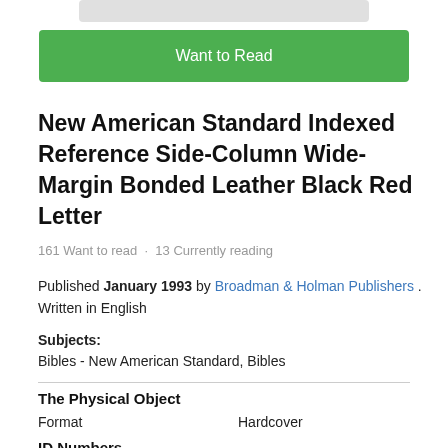[Figure (other): Gray rounded rectangle UI element (book cover placeholder or button bar)]
[Figure (other): Green 'Want to Read' button]
New American Standard Indexed Reference Side-Column Wide-Margin Bonded Leather Black Red Letter
161 Want to read · 13 Currently reading
Published January 1993 by Broadman & Holman Publishers . Written in English
Subjects: Bibles - New American Standard, Bibles
|  |  |
| --- | --- |
| Format | Hardcover |
ID Numbers
|  |  |
| --- | --- |
| Open Library | OL12087695M |
| ISBN 10 | 1558103421 |